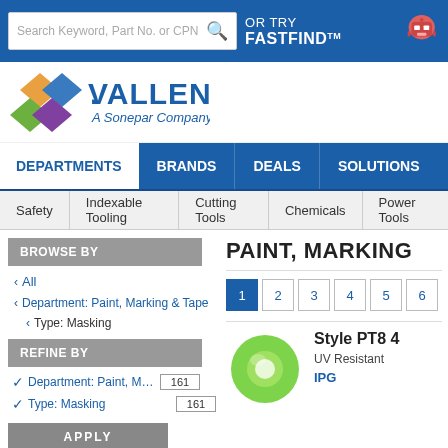Search Keyword, Part No. or CPN | OR TRY FASTFIND™
[Figure (logo): Vallen - A Sonepar Company logo with colorful diamond shapes]
DEPARTMENTS | BRANDS | DEALS | SOLUTIONS
Safety | Indexable Tooling | Cutting Tools | Chemicals | Power Tools
BROWSE BY
‹ All
‹ Department: Paint, Marking & Tape
‹ Type: Masking
REFINE BY
✔ Department: Paint, Marking ... 161
✔ Type: Masking 161
PAINT, MARKING
Pagination: 1 2 3 4 5 6
[Figure (photo): Green masking tape roll]
Style PT8 4
UV Resistant
IPG